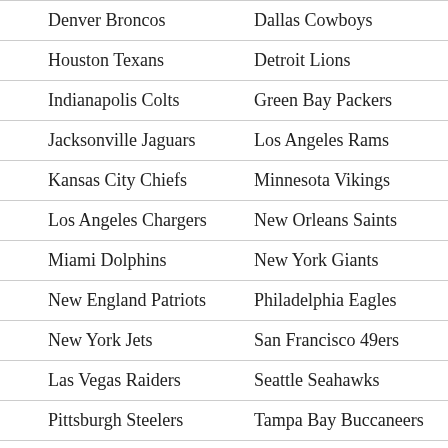| Denver Broncos | Dallas Cowboys |
| Houston Texans | Detroit Lions |
| Indianapolis Colts | Green Bay Packers |
| Jacksonville Jaguars | Los Angeles Rams |
| Kansas City Chiefs | Minnesota Vikings |
| Los Angeles Chargers | New Orleans Saints |
| Miami Dolphins | New York Giants |
| New England Patriots | Philadelphia Eagles |
| New York Jets | San Francisco 49ers |
| Las Vegas Raiders | Seattle Seahawks |
| Pittsburgh Steelers | Tampa Bay Buccaneers |
| Tennessee Titans | Washington Commanders |
| AFC Wild Card | NFC Wild Card |